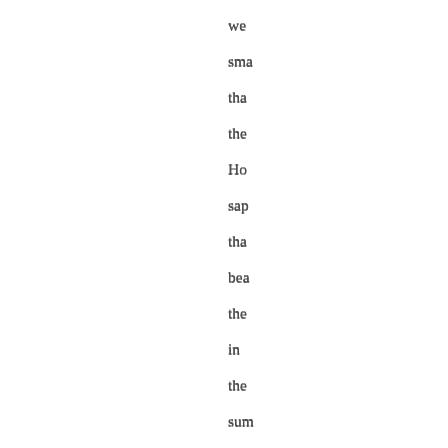we
sma
that
the
Ho
sap
that
bea
the
in
the
sum
gan
Sum
fold
and
bra
stru
mat
mo
than
bra
size